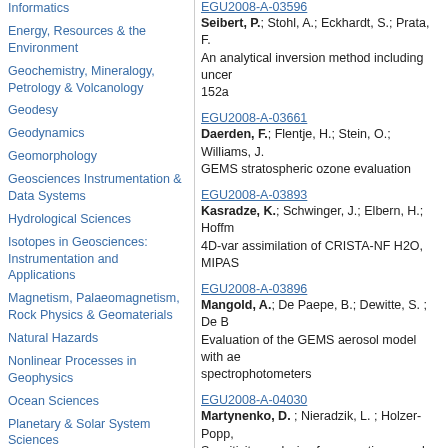Informatics
Energy, Resources & the Environment
Geochemistry, Mineralogy, Petrology & Volcanology
Geodesy
Geodynamics
Geomorphology
Geosciences Instrumentation & Data Systems
Hydrological Sciences
Isotopes in Geosciences: Instrumentation and Applications
Magnetism, Palaeomagnetism, Rock Physics & Geomaterials
Natural Hazards
Nonlinear Processes in Geophysics
Ocean Sciences
Planetary & Solar System Sciences
Seismology
EGU2008-A-03596
Seibert, P.; Stohl, A.; Eckhardt, S.; Prata, F.
An analytical inversion method including uncer
152a
EGU2008-A-03661
Daerden, F.; Flentje, H.; Stein, O.; Williams, J.
GEMS stratospheric ozone evaluation
EGU2008-A-03893
Kasradze, K.; Schwinger, J.; Elbern, H.; Hoffm
4D-var assimilation of CRISTA-NF H2O, MIPAS
EGU2008-A-03896
Mangold, A.; De Paepe, B.; Dewitte, S. ; De B
Evaluation of the GEMS aerosol model with ae
spectrophotometers
EGU2008-A-04030
Martynenko, D. ; Nieradzik, L. ; Holzer-Popp,
Sensitivity analysis of synergetic aerosol retrie
EGU2008-A-04150
Nieradzik, L.; Martynenko, D.; Schroedter-Hon
Towards chemistry resolved variational assimil
EGU2008-A-04588
Khokhar, M. F.; Platt, U; Granier, C; Law, K; W
Global Distribution of Tropospheric Sulfur Diox